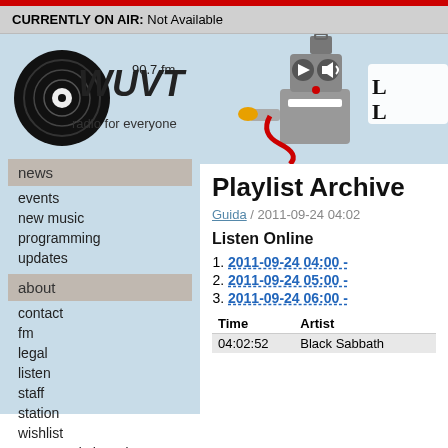CURRENTLY ON AIR: Not Available
[Figure (logo): WUVT 90.7 fm radio for everyone logo with vinyl record graphic]
news
events
new music
programming
updates
about
contact
fm
legal
listen
staff
station
wishlist
wuvt needs hoards
[Figure (illustration): Robot illustration holding a telephone with play and volume buttons]
Playlist Archive
Guida / 2011-09-24 04:02
Listen Online
2011-09-24 04:00 -
2011-09-24 05:00 -
2011-09-24 06:00 -
| Time | Artist |  |
| --- | --- | --- |
| 04:02:52 | Black Sabbath |  |